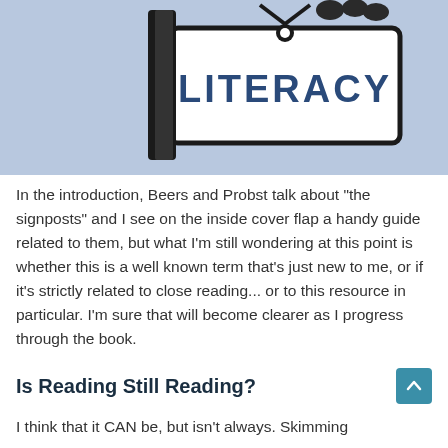[Figure (illustration): Illustration of a book or sign with the word LITERACY on a light blue background, with a hand holding it.]
In the introduction, Beers and Probst talk about "the signposts" and I see on the inside cover flap a handy guide related to them, but what I'm still wondering at this point is whether this is a well known term that's just new to me, or if it's strictly related to close reading... or to this resource in particular. I'm sure that will become clearer as I progress through the book.
Is Reading Still Reading?
I think that it CAN be, but isn't always. Skimming